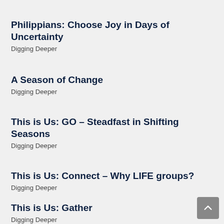Philippians: Choose Joy in Days of Uncertainty
Digging Deeper
A Season of Change
Digging Deeper
This is Us: GO – Steadfast in Shifting Seasons
Digging Deeper
This is Us: Connect – Why LIFE groups?
Digging Deeper
This is Us: Gather
Digging Deeper